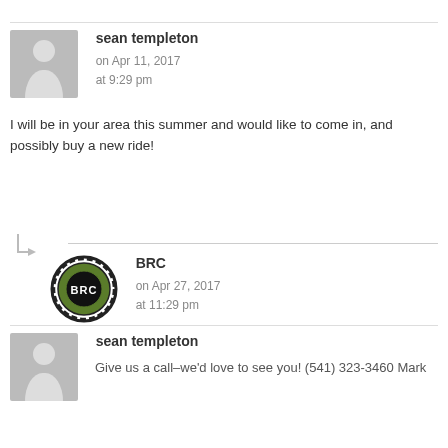sean templeton on Apr 11, 2017 at 9:29 pm
I will be in your area this summer and would like to come in, and possibly buy a new ride!
BRC on Apr 27, 2017 at 11:29 pm
Give us a call–we'd love to see you! (541) 323-3460 Mark
sean templeton